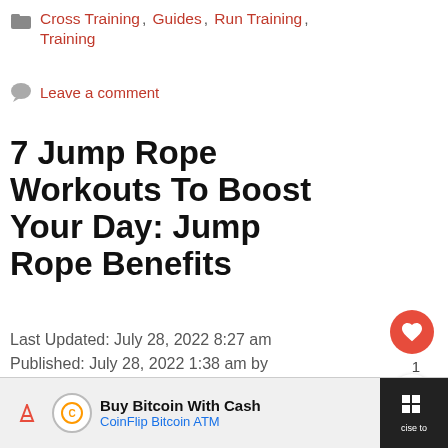Cross Training, Guides, Run Training, Training
Leave a comment
7 Jump Rope Workouts To Boost Your Day: Jump Rope Benefits
Last Updated: July 28, 2022 8:27 am
Published: July 28, 2022 1:38 am by Amber Sayer
We don't always have a lot of time to work out, and exercise to lo...